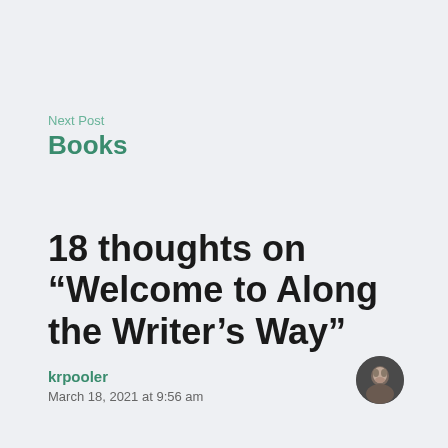Next Post
Books
18 thoughts on “Welcome to Along the Writer’s Way”
krpooler
March 18, 2021 at 9:56 am
[Figure (photo): Small circular avatar photo of a person]